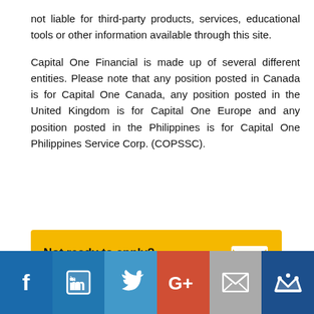not liable for third-party products, services, educational tools or other information available through this site.

Capital One Financial is made up of several different entities. Please note that any position posted in Canada is for Capital One Canada, any position posted in the United Kingdom is for Capital One Europe and any position posted in the Philippines is for Capital One Philippines Service Corp. (COPSSC).
[Figure (infographic): Yellow call-to-action box: 'Not ready to apply?' with 'Email me to apply later ▶' and an envelope icon on the right.]
Similar jobs
[Figure (screenshot): Light blue/grey box below Similar jobs header.]
[Figure (infographic): Social media sharing bar with Facebook, LinkedIn, Twitter, Google+, Email, and myjob icons.]